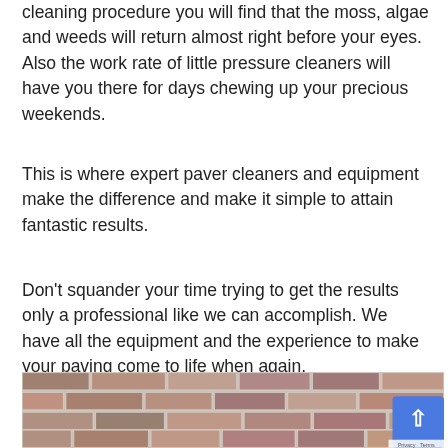cleaning procedure you will find that the moss, algae and weeds will return almost right before your eyes. Also the work rate of little pressure cleaners will have you there for days chewing up your precious weekends.
This is where expert paver cleaners and equipment make the difference and make it simple to attain fantastic results.
Don't squander your time trying to get the results only a professional like we can accomplish. We have all the equipment and the experience to make your paving come to life when again.
[Figure (photo): Photograph of a brick wall with aged, multi-toned red and brown bricks laid in traditional horizontal courses. A blue back-to-top button appears in the bottom right corner with a white upward arrow. A small privacy/terms bar is visible at the very bottom right.]